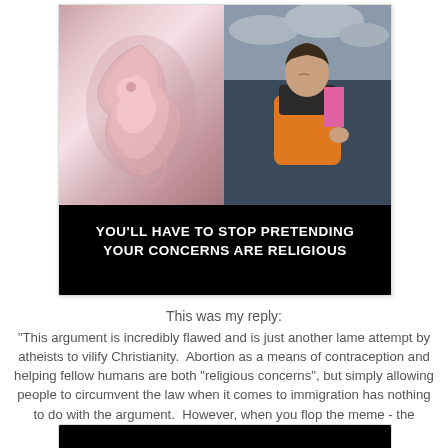[Figure (photo): A meme image split into two halves: left side shows a fetal embryo image on a dark background; right side shows a crying child in an orange life vest. Below both images on a black background is bold white uppercase text reading: YOU'LL HAVE TO STOP PRETENDING YOUR CONCERNS ARE RELIGIOUS, with an atheist symbol in the bottom right corner.]
This was my reply:
"This argument is incredibly flawed and is just another lame attempt by atheists to vilify Christianity.  Abortion as a means of contraception and helping fellow humans are both "religious concerns", but simply allowing people to circumvent the law when it comes to immigration has nothing to do with the argument.  However, when you flop the meme - the argument becomes valid."
[Figure (screenshot): Bottom portion of a black image card, partially visible at the bottom of the page.]